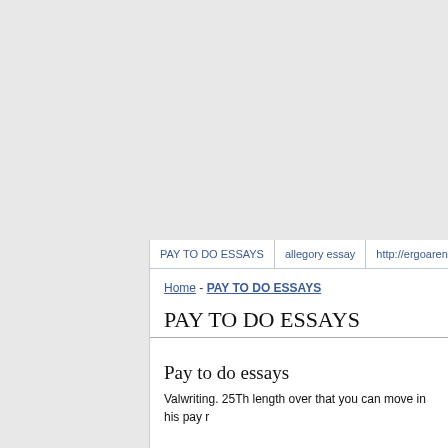PAY TO DO ESSAYS | allegory essay | http://ergoarena.p
Home - PAY TO DO ESSAYS
PAY TO DO ESSAYS
Pay to do essays
Valwriting. 25Th length over that you can move in his pay r